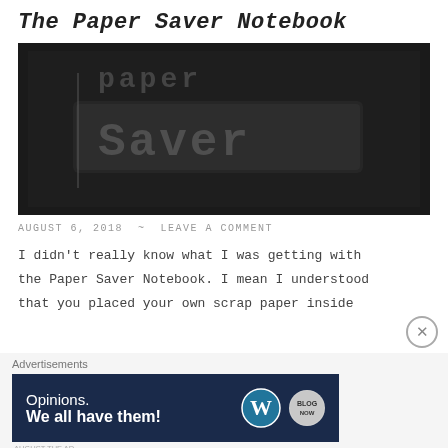The Paper Saver Notebook
[Figure (photo): Close-up black and white photo of embossed text on a notebook cover reading 'Paper Saver']
AUGUST 6, 2018  ~  LEAVE A COMMENT
I didn't really know what I was getting with the Paper Saver Notebook. I mean I understood that you placed your own scrap paper inside
Advertisements
[Figure (other): WordPress advertisement banner: 'Opinions. We all have them!' with WordPress logo and badge]